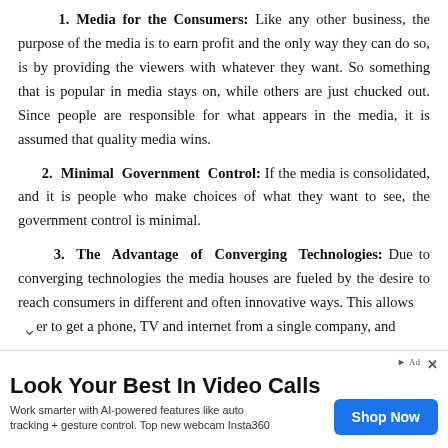1. Media for the Consumers: Like any other business, the purpose of the media is to earn profit and the only way they can do so, is by providing the viewers with whatever they want. So something that is popular in media stays on, while others are just chucked out. Since people are responsible for what appears in the media, it is assumed that quality media wins.
2. Minimal Government Control: If the media is consolidated, and it is people who make choices of what they want to see, the government control is minimal.
3. The Advantage of Converging Technologies: Due to converging technologies the media houses are fueled by the desire to reach consumers in different and often innovative ways. This allows er to get a phone, TV and internet from a single company, and
[Figure (screenshot): Advertisement banner: 'Look Your Best In Video Calls' with 'Shop Now' button for AI-powered webcam (Insta360)]